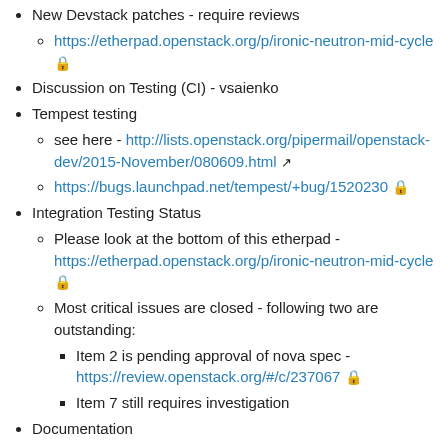New Devstack patches - require reviews
https://etherpad.openstack.org/p/ironic-neutron-mid-cycle 🔒
Discussion on Testing (CI) - vsaienko
Tempest testing
see here - http://lists.openstack.org/pipermail/openstack-dev/2015-November/080609.html ↗
https://bugs.launchpad.net/tempest/+bug/1520230 🔒
Integration Testing Status
Please look at the bottom of this etherpad - https://etherpad.openstack.org/p/ironic-neutron-mid-cycle 🔒
Most critical issues are closed - following two are outstanding:
Item 2 is pending approval of nova spec - https://review.openstack.org/#/c/237067 🔒
Item 7 still requires investigation
Documentation
Ironic documentation patch is here - https://review.openstack.org/#/c/228496 🔒
Bare metal physical connectivity scenarios - supported